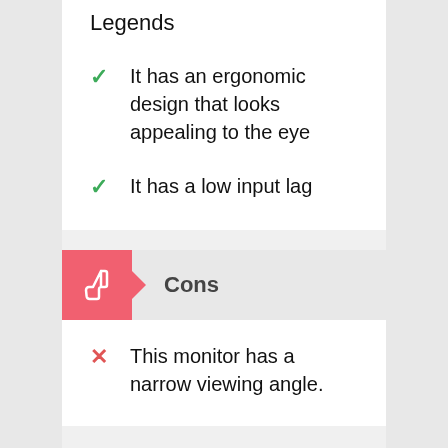Legends
It has an ergonomic design that looks appealing to the eye
It has a low input lag
Cons
This monitor has a narrow viewing angle.